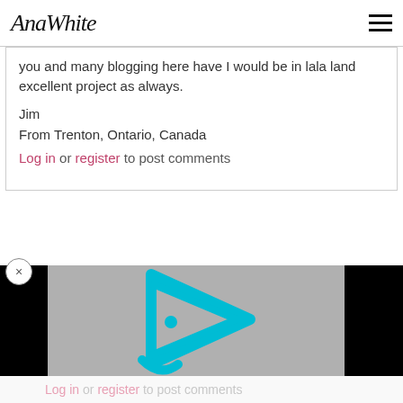AnaWhite
you and many blogging here have I would be in lala land excellent project as always.

Jim
From Trenton, Ontario, Canada
Log in or register to post comments
[Figure (screenshot): Video player thumbnail with cyan/teal play button icon on gray background, surrounded by black bars. Partial text 'nd.' visible at bottom right.]
Log in or register to post comments